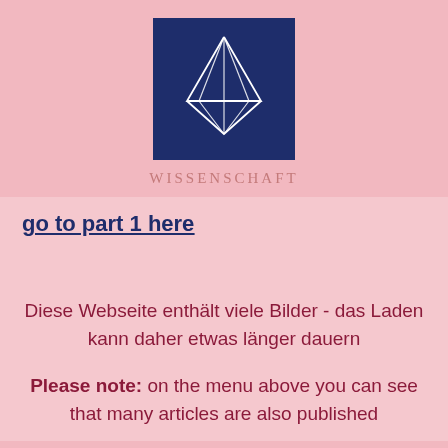[Figure (logo): Dark navy blue square logo with a white geometric crystal/gem shape (pyramid-like polyhedron outline) on a pink background, with the word WISSENSCHAFT below in spaced pink serif text]
go to part 1 here
Diese Webseite enthält viele Bilder - das Laden kann daher etwas länger dauern
Please note: on the menu above you can see that many articles are also published